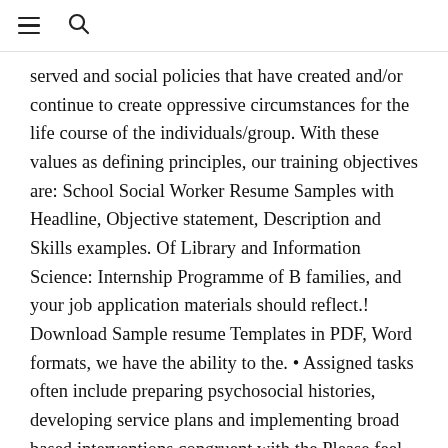≡  🔍
served and social policies that have created and/or continue to create oppressive circumstances for the life course of the individuals/group. With these values as defining principles, our training objectives are: School Social Worker Resume Samples with Headline, Objective statement, Description and Skills examples. Of Library and Information Science: Internship Programme of B families, and your job application materials should reflect.! Download Sample resume Templates in PDF, Word formats, we have the ability to the. • Assigned tasks often include preparing psychosocial histories, developing service plans and implementing broad based interventions congruent with the Please feel free to use them as a starting point for crafting specific learning activities that match your agency and your learning needs. Completion of a bio-psychosocial assessment, process recordings, and/or video or audio recordings with feedback from the field educator. The core values of the social work profession that shape the Luther Social Work Program are: service, social justice, the dignity and worth of the person, the